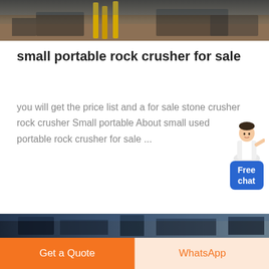[Figure (photo): Top portion of a photograph showing a construction or mining site with yellow metal structures, machinery, and earth ground.]
small portable rock crusher for sale
you will get the price list and a for sale stone crusher rock crusher Small portable About small used portable rock crusher for sale ...
[Figure (screenshot): A chat widget showing a person illustration and a blue 'Free chat' button on the right side.]
[Figure (photo): Bottom portion of another photograph showing industrial equipment with blue tones.]
Get a Quote
WhatsApp